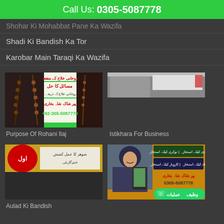Call Us: 0305-5087778
Shohar Ki Mohabbat Pane Ka Wazifa
Shadi Ki Bandish Ka Tor
Karobar Main Taraqi Ka Wazifa
[Figure (photo): Rohani Ilaj promotional image with prayer beads and Urdu text, phone number +92-305-5087778]
Purpose Of Rohani Ilaj
[Figure (photo): Istikhara for Business - partial image visible]
Istikhara For Business
[Figure (photo): Partial banner image with Urdu text]
Aulad Ki Bandish
[Figure (photo): Woman in hijab holding phone with Rohani Ilaj app, Urdu text boxes for Shadi, Naukri, Aulad istikhara, Peer Shah Bukhari, 0305-5087778]
وظیف  عملیات  (WhatsApp icon)